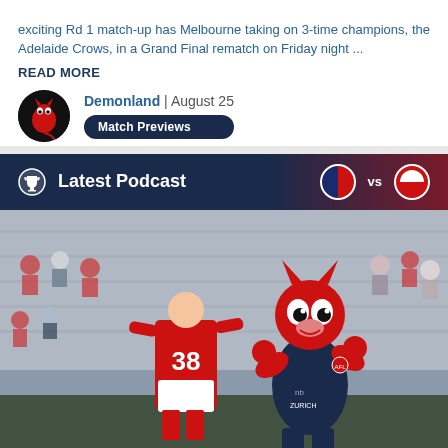exciting Rd 1 match-up has Melbourne taking on 3-time champions, the Adelaide Crows, in a Grand Final rematch on Friday night ...
READ MORE
Demonland | August 25
Match Previews
Latest Podcast vs
[Figure (photo): AFL match photo showing a player in red and white Sydney Swans guernsey numbered 38 standing next to the Melbourne Demons mascot (a red devil character) on the field with crowd in background.]